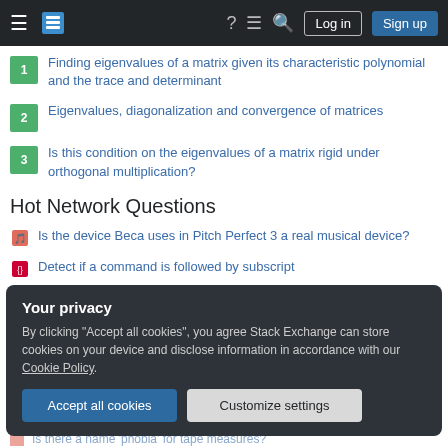Stack Exchange navigation bar with hamburger, logo, help, chat, search, Log in, Sign up
1 Finding eigenvalues of a matrix given its characteristic polynomial and the trace and determinant
2 Eigenvalues, diagonalization and convergence of matrices
3 Is this condition on the eigenvalues of a matrix rigid under orthogonal multiplication?
Hot Network Questions
Is the device Beca uses in Pitch Perfect 3 a real musical device?
Detect if a command is followed by subscript
Why are beans I soak myself always smaller than canned?
Your privacy
By clicking "Accept all cookies", you agree Stack Exchange can store cookies on your device and disclose information in accordance with our Cookie Policy.
Is there a name 'phobia' for tape measures?